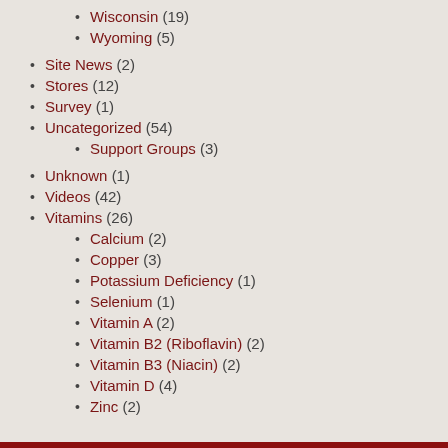Wisconsin (19)
Wyoming (5)
Site News (2)
Stores (12)
Survey (1)
Uncategorized (54)
Support Groups (3)
Unknown (1)
Videos (42)
Vitamins (26)
Calcium (2)
Copper (3)
Potassium Deficiency (1)
Selenium (1)
Vitamin A (2)
Vitamin B2 (Riboflavin) (2)
Vitamin B3 (Niacin) (2)
Vitamin D (4)
Zinc (2)